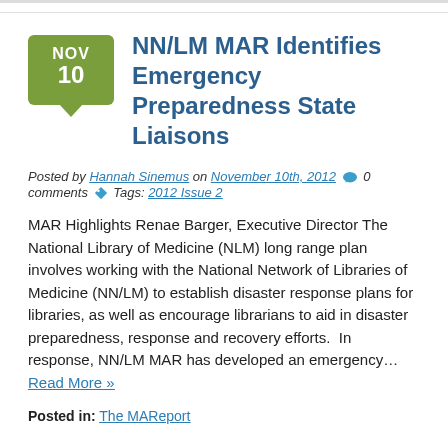NN/LM MAR Identifies Emergency Preparedness State Liaisons
Posted by Hannah Sinemus on November 10th, 2012  0 comments  Tags: 2012 Issue 2
MAR Highlights Renae Barger, Executive Director The National Library of Medicine (NLM) long range plan involves working with the National Network of Libraries of Medicine (NN/LM) to establish disaster response plans for libraries, as well as encourage librarians to aid in disaster preparedness, response and recovery efforts.  In response, NN/LM MAR has developed an emergency… Read More »
Posted in: The MAReport